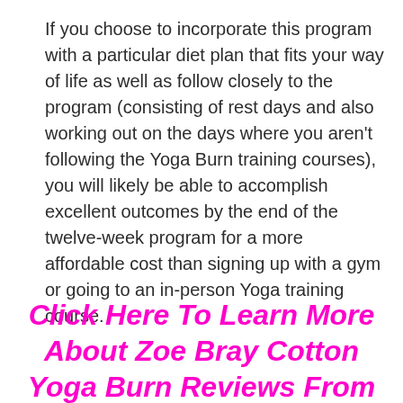If you choose to incorporate this program with a particular diet plan that fits your way of life as well as follow closely to the program (consisting of rest days and also working out on the days where you aren't following the Yoga Burn training courses), you will likely be able to accomplish excellent outcomes by the end of the twelve-week program for a more affordable cost than signing up with a gym or going to an in-person Yoga training course.
Click Here To Learn More About Zoe Bray Cotton Yoga Burn Reviews From The